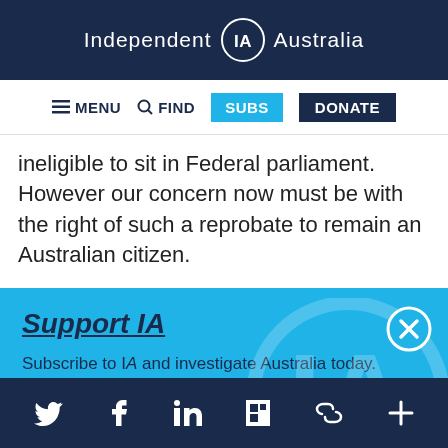Independent IA Australia
≡ MENU  🔍 FIND  SUBS  DONATE
ineligible to sit in Federal parliament. However our concern now must be with the right of such a reprobate to remain an Australian citizen.
Support IA
Subscribe to IA and investigate Australia today.
Close  Subscribe  Donate
Social media icons: Twitter, Facebook, LinkedIn, Flipboard, Link, Plus